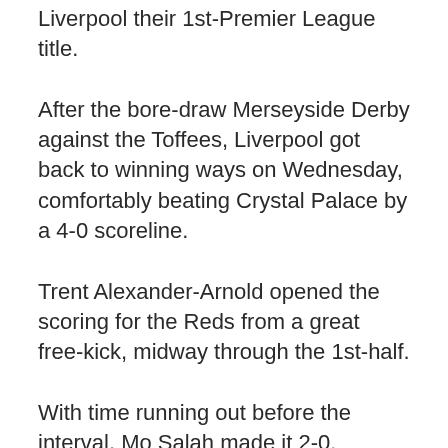Liverpool their 1st-Premier League title.
After the bore-draw Merseyside Derby against the Toffees, Liverpool got back to winning ways on Wednesday, comfortably beating Crystal Palace by a 4-0 scoreline.
Trent Alexander-Arnold opened the scoring for the Reds from a great free-kick, midway through the 1st-half.
With time running out before the interval, Mo Salah made it 2-0.
After the break, Fabinho scored Liverpool's 3rd, with a great thunderbolt of a strike which no goalkeeper was stopping.